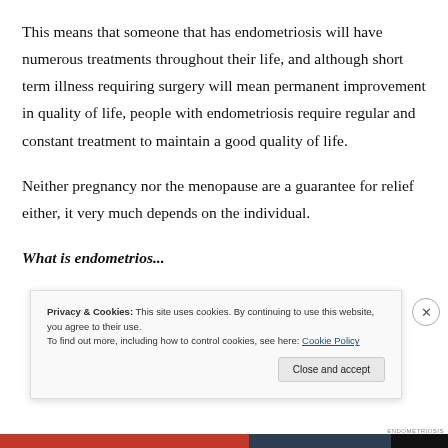This means that someone that has endometriosis will have numerous treatments throughout their life, and although short term illness requiring surgery will mean permanent improvement in quality of life, people with endometriosis require regular and constant treatment to maintain a good quality of life.
Neither pregnancy nor the menopause are a guarantee for relief either, it very much depends on the individual.
What is endometriosis...
Privacy & Cookies: This site uses cookies. By continuing to use this website, you agree to their use.
To find out more, including how to control cookies, see here: Cookie Policy